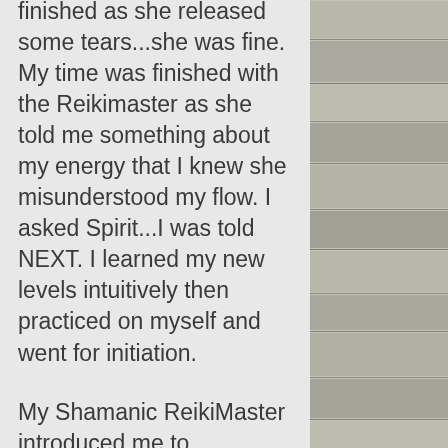finished as she released some tears...she was fine. My time was finished with the Reikimaster as she told me something about my energy that I knew she misunderstood my flow. I asked Spirit...I was told NEXT. I learned my new levels intuitively then practiced on myself and went for initiation.
My Shamanic ReikiMaster introduced me to journeying with Reiki II. I loved it and then forgot about it. I thought it was nice. Then my next teacher was the 3 Shamans. There are no longer 3 shamans I know since the leader married and him and his wife run the school...I don't know anything else. I also became ReikiMaster by the way